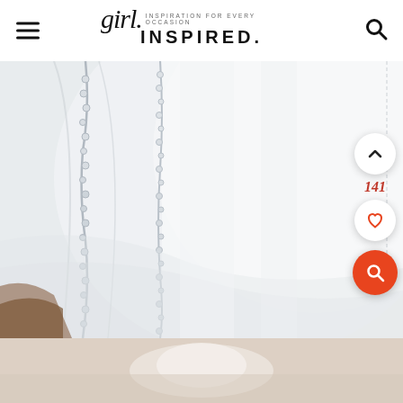girl. INSPIRATION FOR EVERY OCCASION INSPIRED.
[Figure (photo): Close-up photo of white tulle/veil fabric with ruffled lace trim details, soft white fabric layers visible, brown wooden surface partially visible at bottom left]
[Figure (photo): Bottom partial photo showing blurred white veil/tulle item on a light beige background]